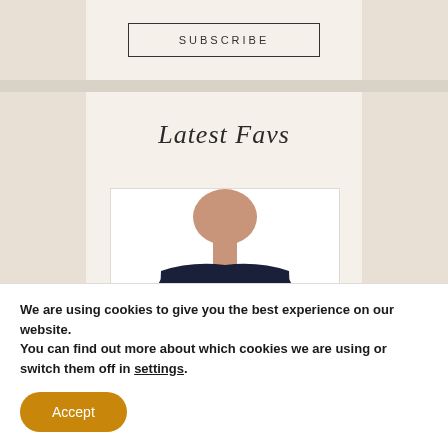[Figure (other): Subscribe button — bordered rectangle with 'SUBSCRIBE' text in spaced capital letters, centered on a cream background panel]
Latest Favs
[Figure (photo): A woman wearing a navy blue graphic t-shirt with a colorful band/concert style print on the front, cropped view showing neck to waist]
We are using cookies to give you the best experience on our website.
You can find out more about which cookies we are using or switch them off in settings.
[Figure (other): Accept button — orange rounded pill-shaped button with white 'Accept' text]